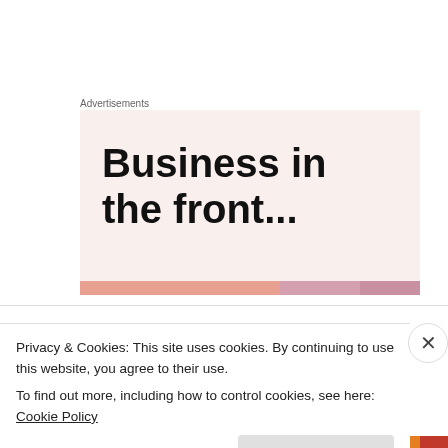Advertisements
[Figure (illustration): Advertisement banner with large bold text reading 'Business in the front...' on a light pink/beige background with a colorful stripe at the bottom]
Matt on September 1, 2012 at 12:45 pm
Excellent article! A much needed elucidation.
Privacy & Cookies: This site uses cookies. By continuing to use this website, you agree to their use.
To find out more, including how to control cookies, see here: Cookie Policy
Close and accept